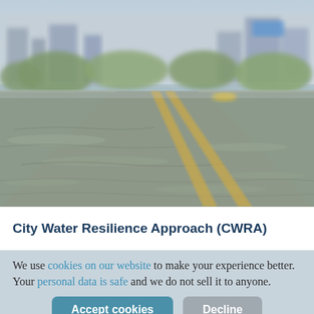[Figure (photo): Flooded urban road with water covering the surface, yellow center lines visible, city buildings and green trees in the blurry background, a yellow vehicle in the distance.]
City Water Resilience Approach (CWRA)
We use cookies on our website to make your experience better. Your personal data is safe and we do not sell it to anyone.